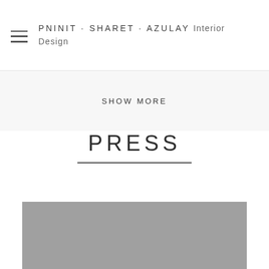PNINIT·SHARET·AZULAY Interior Design
SHOW MORE
PRESS
[Figure (photo): Gray placeholder image at the bottom of the page]